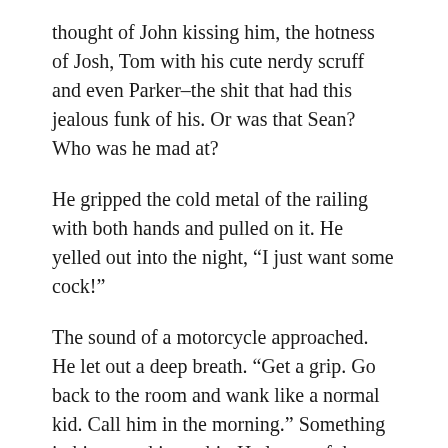thought of John kissing him, the hotness of Josh, Tom with his cute nerdy scruff and even Parker–the shit that had this jealous funk of his. Or was that Sean? Who was he mad at?
He gripped the cold metal of the railing with both hands and pulled on it. He yelled out into the night, “I just want some cock!”
The sound of a motorcycle approached. He let out a deep breath. “Get a grip. Go back to the room and wank like a normal kid. Call him in the morning.” Something in him eased just a bit. He let go of the railing and turned back toward the Inn.